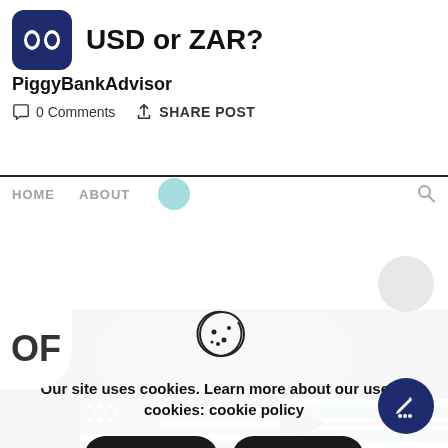USD or ZAR?
PiggyBankAdvisor
0 Comments   SHARE POST
HOME   ABOUT
[Figure (photo): Hero image showing American flag and South African flag on dark background, partially visible with 'OF' text on the left side]
[Figure (illustration): Cookie icon - circle with bite taken out, showing cookie crumbs/dots]
Our site uses cookies. Learn more about our use of cookies: cookie policy
ACCEPT
REJECT